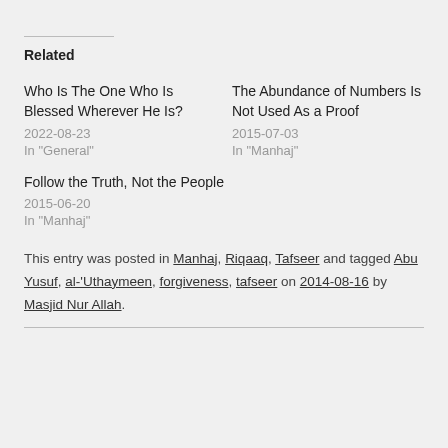Related
Who Is The One Who Is Blessed Wherever He Is?
2022-08-23
In "General"
The Abundance of Numbers Is Not Used As a Proof
2015-07-03
In "Manhaj"
Follow the Truth, Not the People
2015-06-20
In "Manhaj"
This entry was posted in Manhaj, Riqaaq, Tafseer and tagged Abu Yusuf, al-'Uthaymeen, forgiveness, tafseer on 2014-08-16 by Masjid Nur Allah.